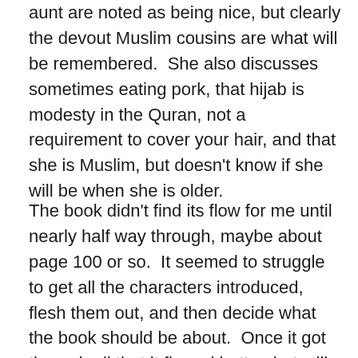aunt are noted as being nice, but clearly the devout Muslim cousins are what will be remembered.  She also discusses sometimes eating pork, that hijab is modesty in the Quran, not a requirement to cover your hair, and that she is Muslim, but doesn't know if she will be when she is older.
The book didn't find its flow for me until nearly half way through, maybe about page 100 or so.  It seemed to struggle to get all the characters introduced, flesh them out, and then decide what the book should be about.  Once it got through all that it flowed better, but still left me confused as to why there was a spontaneous breakfast party, why a lawyer would so quickly get involved in the music case, why Theo was withdrawing from his friends, why Rain wouldn't just talk to Theo, how Rain had friends she could stay with after just starting at the school, how